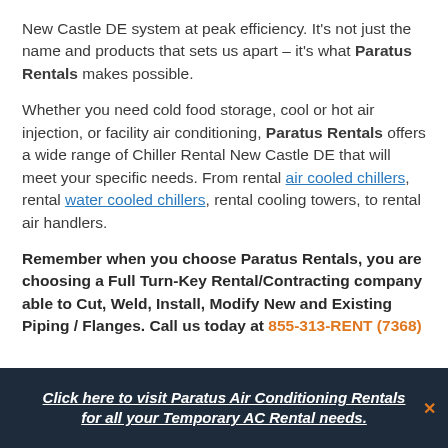New Castle DE system at peak efficiency. It's not just the name and products that sets us apart – it's what Paratus Rentals makes possible.
Whether you need cold food storage, cool or hot air injection, or facility air conditioning, Paratus Rentals offers a wide range of Chiller Rental New Castle DE that will meet your specific needs. From rental air cooled chillers, rental water cooled chillers, rental cooling towers, to rental air handlers.
Remember when you choose Paratus Rentals, you are choosing a Full Turn-Key Rental/Contracting company able to Cut, Weld, Install, Modify New and Existing Piping / Flanges. Call us today at 855-313-RENT (7368)
Click here to visit Paratus Air Conditioning Rentals for all your Temporary AC Rental needs.